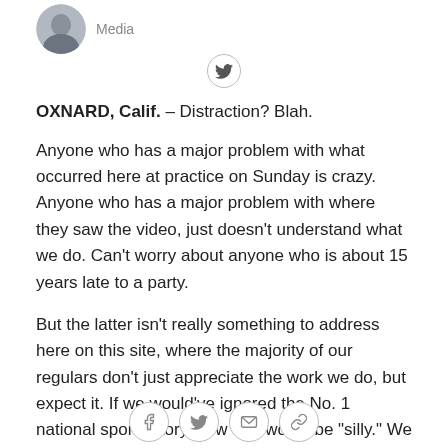[Figure (photo): Circular avatar photo of a person in a suit, partially visible at top]
Media
[Figure (other): Twitter bird icon inside a circle]
OXNARD, Calif. – Distraction? Blah.
Anyone who has a major problem with what occurred here at practice on Sunday is crazy. Anyone who has a major problem with where they saw the video, just doesn't understand what we do. Can't worry about anyone who is about 15 years late to a party.
But the latter isn't really something to address here on this site, where the majority of our regulars don't just appreciate the work we do, but expect it. If we would've ignored the No. 1 national sports story, now that would be "silly." We play to win the game, too.
So let's shift it back to the field. This is exactly what the
[Figure (other): Social sharing icons: Facebook, Twitter, email, link — each in a circle at the bottom]